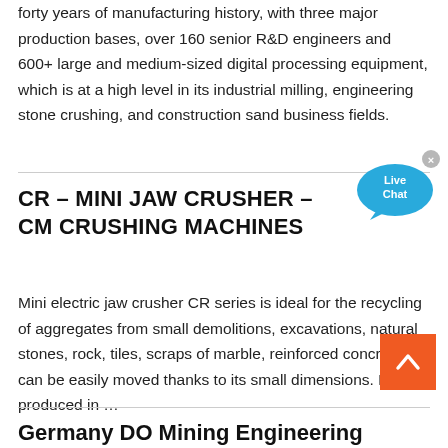forty years of manufacturing history, with three major production bases, over 160 senior R&D engineers and 600+ large and medium-sized digital processing equipment, which is at a high level in its industrial milling, engineering stone crushing, and construction sand business fields.
[Figure (other): Live Chat speech bubble badge UI element]
CR – MINI JAW CRUSHER – CM CRUSHING MACHINES
Mini electric jaw crusher CR series is ideal for the recycling of aggregates from small demolitions, excavations, natural stones, rock, tiles, scraps of marble, reinforced concrete. It can be easily moved thanks to its small dimensions. It is produced in …
[Figure (other): Orange scroll-to-top button with upward chevron arrow]
Germany DO Mining Engineering